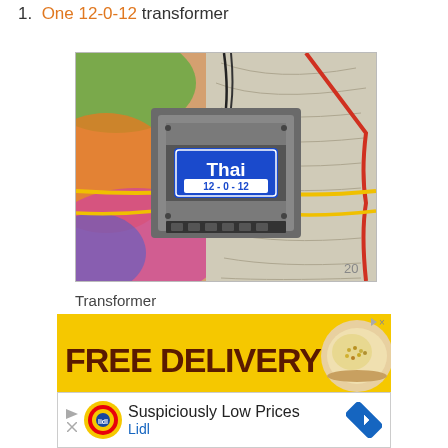1. One 12-0-12 transformer
[Figure (photo): A Thai brand 12-0-12 transformer shown on a colorful map background, with yellow and red wires connected to it. The transformer is labeled 'Thai 12-0-12'.]
Transformer
[Figure (photo): Advertisement banner: FREE DELIVERY on yellow background, with image of food (rice dish), and Lidl Suspiciously Low Prices advertisement below.]